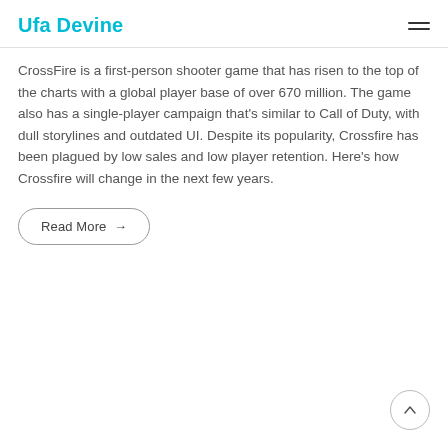Ufa Devine
CrossFire is a first-person shooter game that has risen to the top of the charts with a global player base of over 670 million. The game also has a single-player campaign that's similar to Call of Duty, with dull storylines and outdated UI. Despite its popularity, Crossfire has been plagued by low sales and low player retention. Here's how Crossfire will change in the next few years.
Read More →